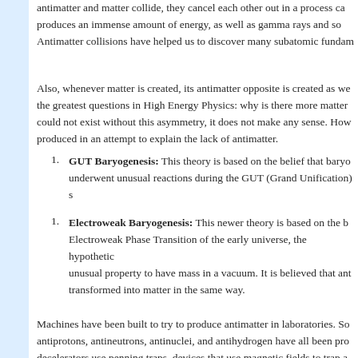antimatter and matter collide, they cancel each other out in a process called annihilation, which produces an immense amount of energy, as well as gamma rays and so... Antimatter collisions have helped us to discover many subatomic fundam...
Also, whenever matter is created, its antimatter opposite is created as we... the greatest questions in High Energy Physics: why is there more matter... could not exist without this asymmetry, it does not make any sense. How... produced in an attempt to explain the lack of antimatter.
GUT Baryogenesis: This theory is based on the belief that baryo... underwent unusual reactions during the GUT (Grand Unification) s...
Electroweak Baryogenesis: This newer theory is based on the b... Electroweak Phase Transition of the early universe, the hypothetic... unusual property to have mass in a vacuum. It is believed that ant... transformed into matter in the same way.
Machines have been built to try to produce antimatter in laboratories. So... antiprotons, antineutrons, antinuclei, and antihydrogen have all been pro... decelerators use penning traps, devices that use magnetic fields to trap a... periods of time. Antihydrogen was formed by forcing a positron to rotate a...